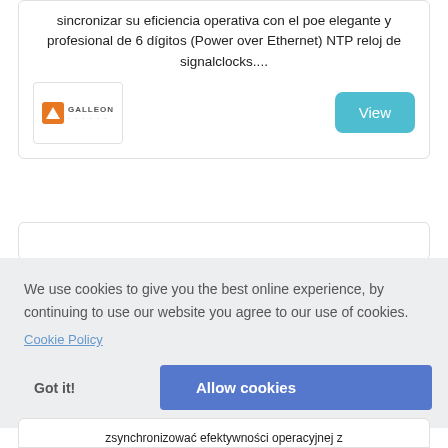sincronizar su eficiencia operativa con el poe elegante y profesional de 6 dígitos (Power over Ethernet) NTP reloj de signalclocks....
[Figure (logo): Galleon Systems logo with orange triangle icon and 'GALLEON' text in uppercase with dotted underline]
View
We use cookies to give you the best online experience, by continuing to use our website you agree to our use of cookies.
Cookie Policy
Got it!
Allow cookies
zsynchronizować efektywności operacyjnej z